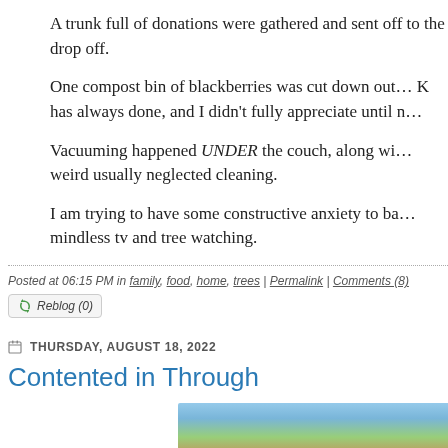A trunk full of donations were gathered and sent off... drop off.
One compost bin of blackberries was cut down out... K has always done, and I didn't fully appreciate until n...
Vacuuming happened UNDER the couch, along wi... weird usually neglected cleaning.
I am trying to have some constructive anxiety to ba... mindless tv and tree watching.
Posted at 06:15 PM in family, food, home, trees | Permalink | Comments (8)
Reblog (0)
THURSDAY, AUGUST 18, 2022
Contented in Through
[Figure (photo): Partial bottom-edge photo, appears to show an outdoor or nature scene with blue sky and vegetation.]